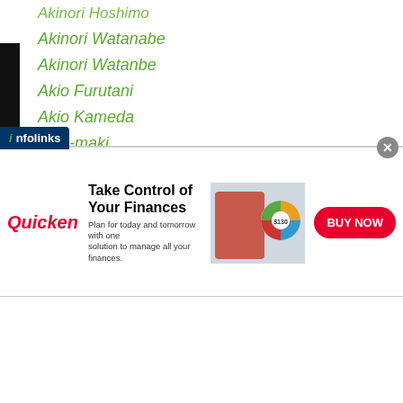Akinori Hoshimo
Akinori Watanabe
Akinori Watanbe
Akio Furutani
Akio Kameda
Akio-maki
Akio Shibata
Akira Hoshuyama
Akira Kaito
Akira Kokubo
Akira Shono
Akira Yaegashi
Akira Yamane
Akiyoshi Kanazawa
AK Promotions
Akram Jafwi
Sulaimanbek Uulu
[Figure (screenshot): Quicken advertisement banner: 'Take Control of Your Finances - Plan for today and tomorrow with one solution to manage all your finances.' with BUY NOW button. Infolinks badge at top-left.]